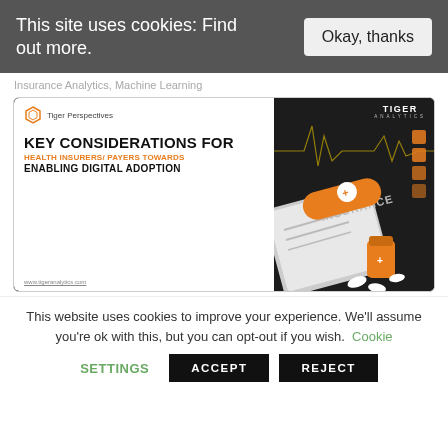This site uses cookies: Find out more.
Insurance Analytics, Machine Learning
[Figure (illustration): Tiger Analytics brochure cover: Key Considerations for Health Insurers/ Payers Towards Enabling Digital Adoption, with insurance-themed illustration on dark background]
This website uses cookies to improve your experience. We'll assume you're ok with this, but you can opt-out if you wish. Cookie settings
ACCEPT
REJECT